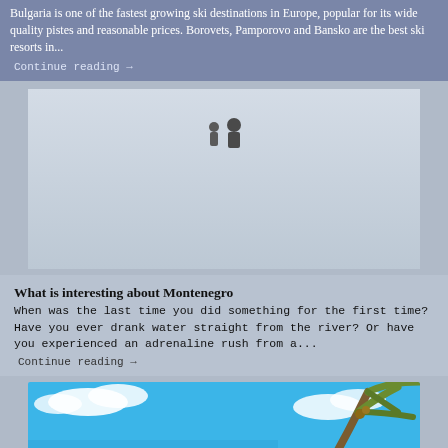Bulgaria is one of the fastest growing ski destinations in Europe, popular for its wide quality pistes and reasonable prices. Borovets, Pamporovo and Bansko are the best ski resorts in...
Continue reading →
[Figure (illustration): Light blue-grey placeholder image card with two small silhouette figures (people) visible near the top center]
What is interesting about Montenegro
When was the last time you did something for the first time? Have you ever drank water straight from the river? Or have you experienced an adrenaline rush from a...
Continue reading →
[Figure (photo): Photo of a tropical palm tree seen from below against a bright blue sky with white clouds]